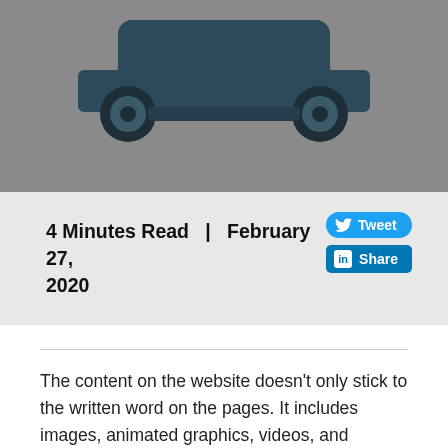[Figure (illustration): Partial view of a flat-style illustrated car (dark teal/navy) on a grey background, showing the top portion and wheels of the vehicle.]
4 Minutes Read   |   February 27, 2020
[Figure (infographic): Tweet button (blue, rounded) and Share button (LinkedIn blue, square corners) social sharing buttons.]
The content on the website doesn't only stick to the written word on the pages. It includes images, animated graphics, videos, and podcasts among